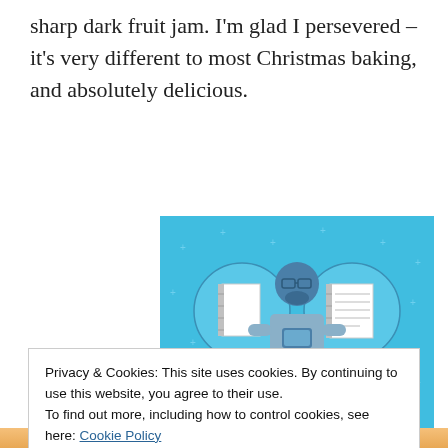sharp dark fruit jam. I'm glad I persevered – it's very different to most Christmas baking, and absolutely delicious.
[Figure (illustration): Day One journaling app advertisement on a blue background. Shows a stylized person with three notebook icons and text: DAY ONE – The only journaling app you'll ever need.]
Privacy & Cookies: This site uses cookies. By continuing to use this website, you agree to their use.
To find out more, including how to control cookies, see here: Cookie Policy
Close and accept